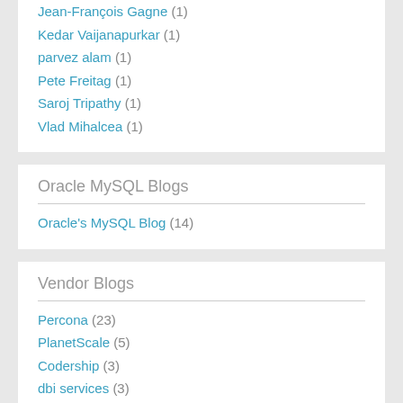Jean-François Gagne (1)
Kedar Vaijanapurkar (1)
parvez alam (1)
Pete Freitag (1)
Saroj Tripathy (1)
Vlad Mihalcea (1)
Oracle MySQL Blogs
Oracle's MySQL Blog (14)
Vendor Blogs
Percona (23)
PlanetScale (5)
Codership (3)
dbi services (3)
EverSQL (2)
HowToForge (1)